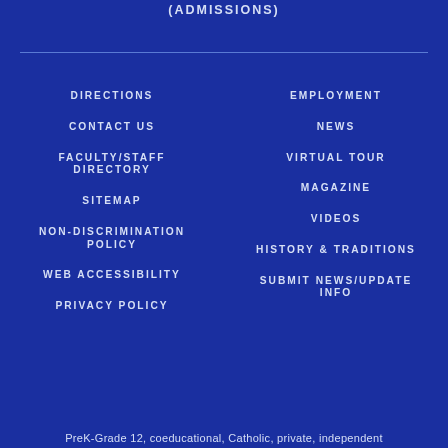(ADMISSIONS)
DIRECTIONS
EMPLOYMENT
CONTACT US
NEWS
FACULTY/STAFF DIRECTORY
VIRTUAL TOUR
MAGAZINE
SITEMAP
VIDEOS
NON-DISCRIMINATION POLICY
HISTORY & TRADITIONS
WEB ACCESSIBILITY
SUBMIT NEWS/UPDATE INFO
PRIVACY POLICY
PreK-Grade 12, coeducational, Catholic, private, independent